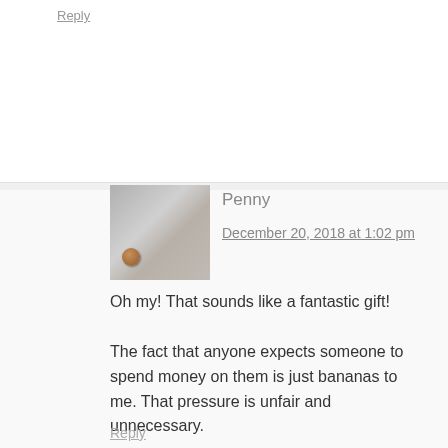Reply
Penny
December 20, 2018 at 1:02 pm
[Figure (photo): Small avatar image showing a gray fabric/surface with a copper penny coin visible in the lower left corner]
Oh my! That sounds like a fantastic gift!
The fact that anyone expects someone to spend money on them is just bananas to me. That pressure is unfair and unnecessary.
Reply